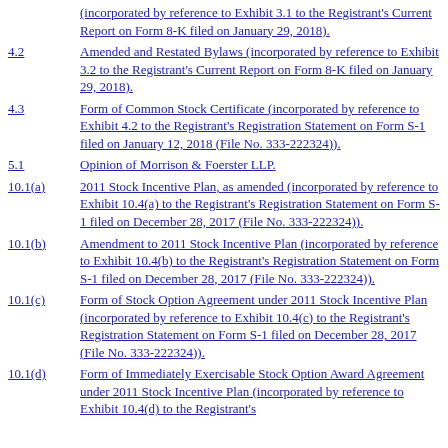(incorporated by reference to Exhibit 3.1 to the Registrant's Current Report on Form 8-K filed on January 29, 2018).
4.2 Amended and Restated Bylaws (incorporated by reference to Exhibit 3.2 to the Registrant's Current Report on Form 8-K filed on January 29, 2018).
4.3 Form of Common Stock Certificate (incorporated by reference to Exhibit 4.2 to the Registrant's Registration Statement on Form S-1 filed on January 12, 2018 (File No. 333-222324)).
5.1 Opinion of Morrison & Foerster LLP.
10.1(a) 2011 Stock Incentive Plan, as amended (incorporated by reference to Exhibit 10.4(a) to the Registrant's Registration Statement on Form S-1 filed on December 28, 2017 (File No. 333-222324)).
10.1(b) Amendment to 2011 Stock Incentive Plan (incorporated by reference to Exhibit 10.4(b) to the Registrant's Registration Statement on Form S-1 filed on December 28, 2017 (File No. 333-222324)).
10.1(c) Form of Stock Option Agreement under 2011 Stock Incentive Plan (incorporated by reference to Exhibit 10.4(c) to the Registrant's Registration Statement on Form S-1 filed on December 28, 2017 (File No. 333-222324)).
10.1(d) Form of Immediately Exercisable Stock Option Award Agreement under 2011 Stock Incentive Plan (incorporated by reference to Exhibit 10.4(d) to the Registrant's